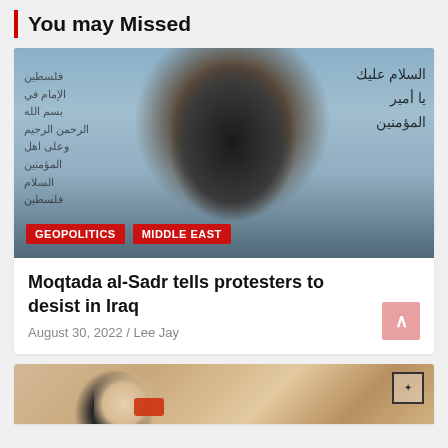You may Missed
[Figure (photo): A close-up photo of a political figure with dark turban and beard, in front of a banner with Arabic text. Tags: GEOPOLITICS, MIDDLE EAST]
Moqtada al-Sadr tells protesters to desist in Iraq
August 30, 2022 / Lee Jay
[Figure (illustration): Partial view of a cartoon/illustration image at bottom of page]